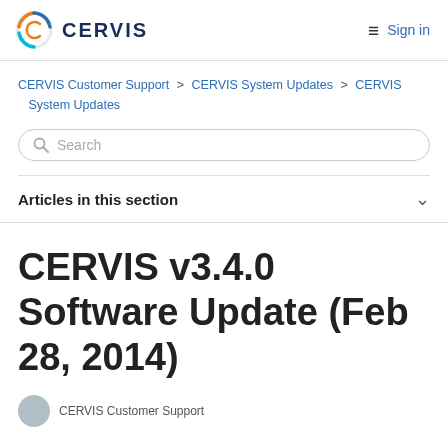CERVIS  Sign in
CERVIS Customer Support > CERVIS System Updates > CERVIS System Updates
Search
Articles in this section
CERVIS v3.4.0 Software Update (Feb 28, 2014)
CERVIS Customer Support